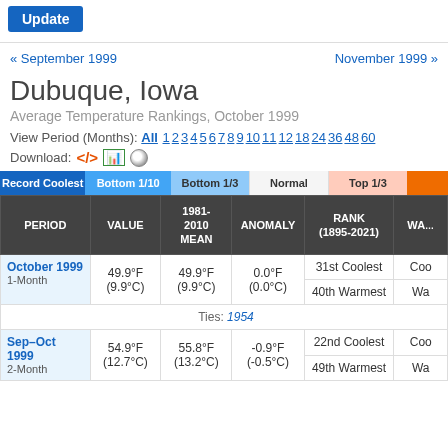Update
« September 1999    November 1999 »
Dubuque, Iowa
Average Temperature Rankings, October 1999
View Period (Months): All 1 2 3 4 5 6 7 8 9 10 11 12 18 24 36 48 60
Download: <> [xls] (o)
| PERIOD | VALUE | 1981-2010 MEAN | ANOMALY | RANK (1895-2021) | WA... |
| --- | --- | --- | --- | --- | --- |
| October 1999 / 1-Month | 49.9°F (9.9°C) | 49.9°F (9.9°C) | 0.0°F (0.0°C) | 31st Coolest | Coo... |
|  |  |  |  | 40th Warmest | Wa... |
| Ties: 1954 |  |  |  |  |  |
| Sep–Oct 1999 / 2-Month | 54.9°F (12.7°C) | 55.8°F (13.2°C) | -0.9°F (-0.5°C) | 22nd Coolest | Coo... |
|  |  |  |  | 49th Warmest | Wa... |